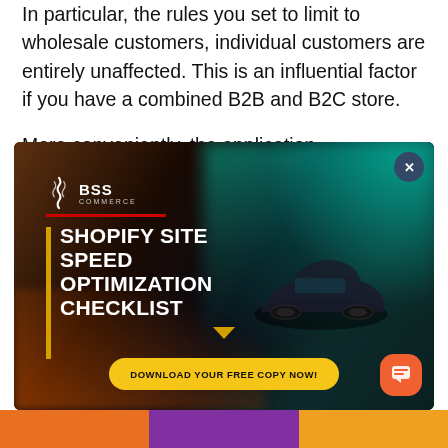In particular, the rules you set to limit to wholesale customers, individual customers are entirely unaffected. This is an influential factor if you have a combined B2B and B2C store.
More conveniently, the application automatically
[Figure (screenshot): BSS Commerce advertisement overlay showing 'SHOPIFY SITE SPEED OPTIMIZATION CHECKLIST' with a dark background featuring a car with motion blur, teal/cyan streaks, BSS Commerce logo, a yellow left bar accent, a gold 'DOWNLOAD YOUR FREE COPY NOW!' button, a close (X) button in the top right, and an orange chat button in the bottom right.]